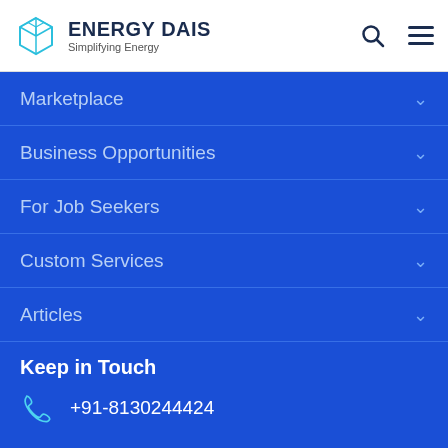ENERGY DAIS — Simplifying Energy
Marketplace
Business Opportunities
For Job Seekers
Custom Services
Articles
Keep in Touch
+91-8130244424